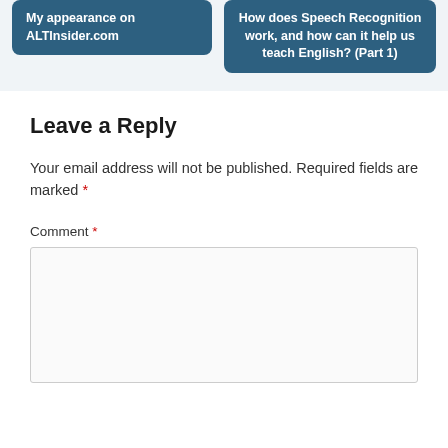My appearance on ALTInsider.com
How does Speech Recognition work, and how can it help us teach English? (Part 1)
Leave a Reply
Your email address will not be published. Required fields are marked *
Comment *